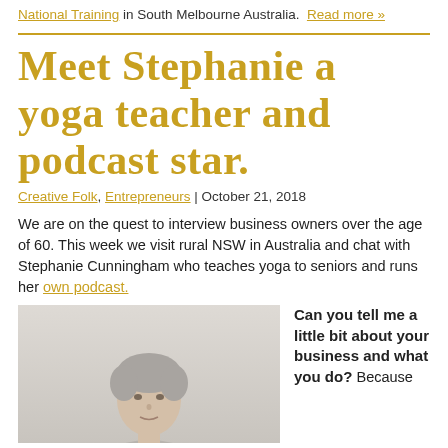National Training in South Melbourne Australia. Read more »
Meet Stephanie a yoga teacher and podcast star.
Creative Folk, Entrepreneurs | October 21, 2018
We are on the quest to interview business owners over the age of 60. This week we visit rural NSW in Australia and chat with Stephanie Cunningham who teaches yoga to seniors and runs her own podcast.
[Figure (photo): Portrait photo of Stephanie Cunningham, an older woman with short grey hair, on a light background]
Can you tell me a little bit about your business and what you do? Because